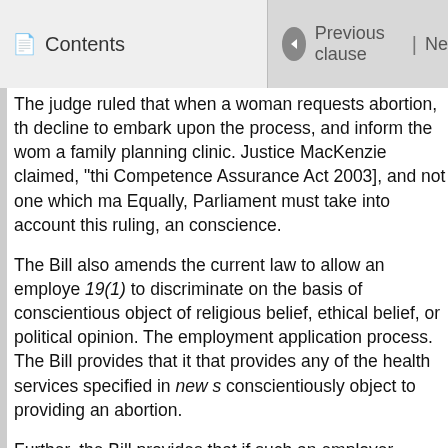Contents | Previous clause | Ne
The judge ruled that when a woman requests abortion, the decline to embark upon the process, and inform the woma a family planning clinic. Justice MacKenzie claimed, “thi Competence Assurance Act 2003], and not one which ma Equally, Parliament must take into account this ruling, an conscience.
The Bill also amends the current law to allow an employe 19(1) to discriminate on the basis of conscientious object of religious belief, ethical belief, or political opinion. The employment application process. The Bill provides that it that provides any of the health services specified in new s conscientiously object to providing an abortion.
Further, the Bill provides that if such an employer consid would “unreasonably disrupt the employer’s activities”, t offering inferior terms of employment, or terminating the restrict this limitation to the health practitioner. It provide connection with the provision of those services” may be k interpretation of “qualified”, this arguably extends the rea the abortion service.
This Supplementary Order Paper seeks to maintain the it